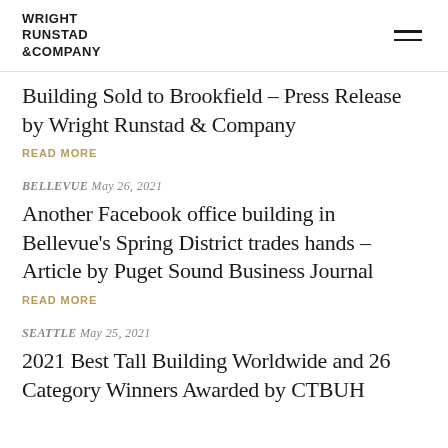WRIGHT RUNSTAD & COMPANY
Building Sold to Brookfield – Press Release by Wright Runstad & Company
READ MORE
BELLEVUE May 26, 2021
Another Facebook office building in Bellevue's Spring District trades hands – Article by Puget Sound Business Journal
READ MORE
SEATTLE May 25, 2021
2021 Best Tall Building Worldwide and 26 Category Winners Awarded by CTBUH